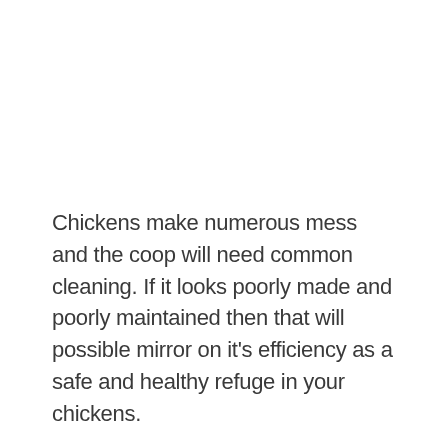Chickens make numerous mess and the coop will need common cleaning. If it looks poorly made and poorly maintained then that will possible mirror on it's efficiency as a safe and healthy refuge in your chickens.